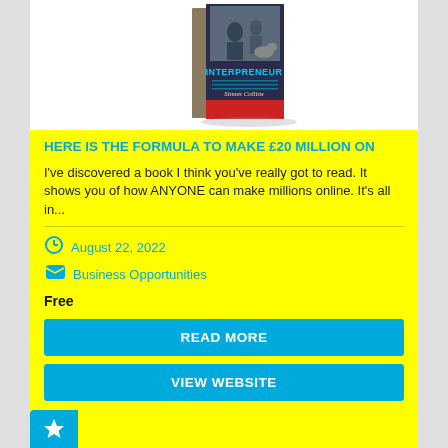[Figure (photo): 3D book cover image of a book titled 'INTERPRENEUR' against white background]
HERE IS THE FORMULA TO MAKE £20 MILLION ON
I've discovered a book I think you've really got to read. It shows you of how ANYONE can make millions online. It's all in...
August 22, 2022
Business Opportunities
Free
READ MORE
VIEW WEBSITE